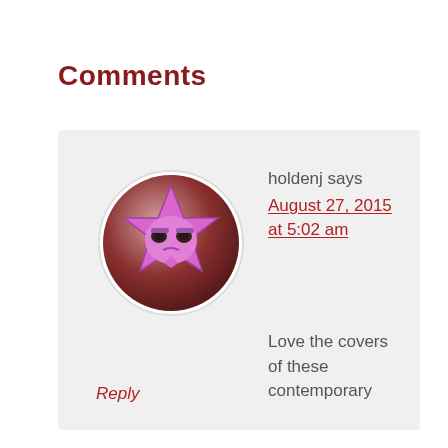Comments
[Figure (illustration): Circular avatar image showing a cartoon pink star character with a grumpy/sad expression against a dark reddish-brown gradient background.]
holdenj says August 27, 2015 at 5:02 am Love the covers of these contemporary romances!
Reply